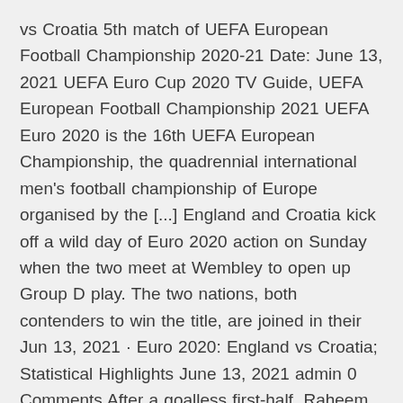vs Croatia 5th match of UEFA European Football Championship 2020-21 Date: June 13, 2021 UEFA Euro Cup 2020 TV Guide, UEFA European Football Championship 2021 UEFA Euro 2020 is the 16th UEFA European Championship, the quadrennial international men's football championship of Europe organised by the [...] England and Croatia kick off a wild day of Euro 2020 action on Sunday when the two meet at Wembley to open up Group D play. The two nations, both contenders to win the title, are joined in their Jun 13, 2021 · Euro 2020: England vs Croatia; Statistical Highlights June 13, 2021 admin 0 Comments After a goalless first-half, Raheem Sterling broke the deadlock in the 57th minute to bring cheers to the Three Lions camp.